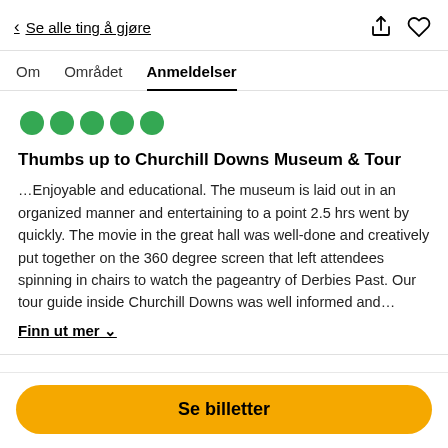< Se alle ting å gjøre
Om   Området   Anmeldelser
[Figure (other): Five green filled circles representing a 5-star rating]
Thumbs up to Churchill Downs Museum & Tour
…Enjoyable and educational. The museum is laid out in an organized manner and entertaining to a point 2.5 hrs went by quickly. The movie in the great hall was well-done and creatively put together on the 360 degree screen that left attendees spinning in chairs to watch the pageantry of Derbies Past. Our tour guide inside Churchill Downs was well informed and…
Finn ut mer ∨
Se billetter